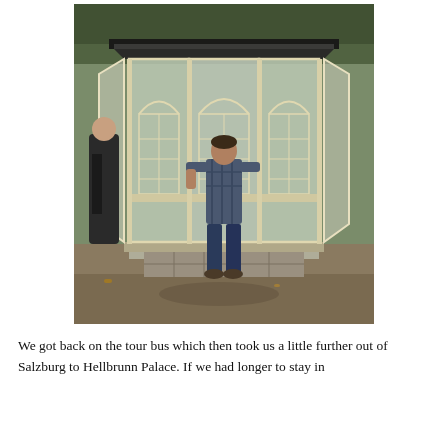[Figure (photo): A man standing in front of a glass gazebo or pavilion structure with white framing and arched windows, surrounded by trees with autumn foliage. Another person in dark clothing is partially visible on the left side of the image.]
We got back on the tour bus which then took us a little further out of Salzburg to Hellbrunn Palace. If we had longer to stay in